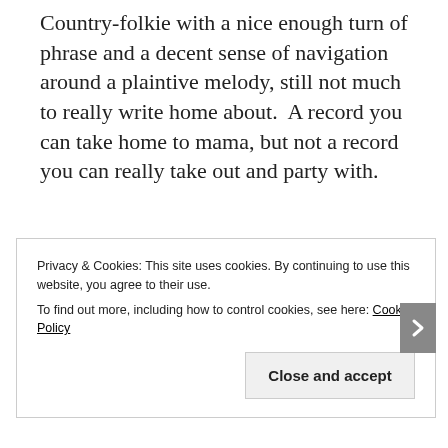Country-folkie with a nice enough turn of phrase and a decent sense of navigation around a plaintive melody, still not much to really write home about.  A record you can take home to mama, but not a record you can really take out and party with.
Privacy & Cookies: This site uses cookies. By continuing to use this website, you agree to their use.
To find out more, including how to control cookies, see here: Cookie Policy
Close and accept